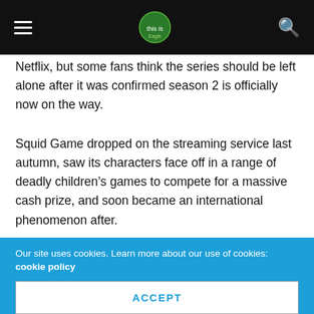Navigation bar with hamburger menu, logo, and search icon
Netflix, but some fans think the series should be left alone after it was confirmed season 2 is officially now on the way.
Squid Game dropped on the streaming service last autumn, saw its characters face off in a range of deadly children's games to compete for a massive cash prize, and soon became an international phenomenon after.
Ever since, fans of the South Korean survival drama series have been desperate to get proper confirmation on a second season.
On Sunday evening, they finally got the news they'd been
Our site uses cookies. Learn more about our use of cookies: cookie policy
ACCEPT